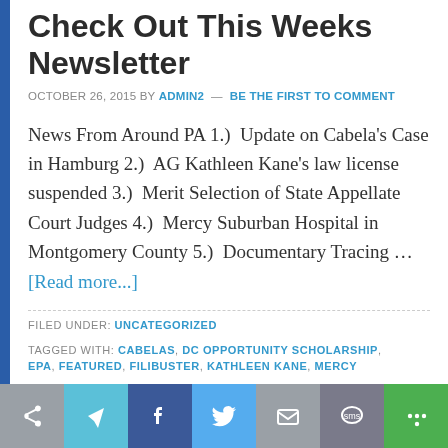Check Out This Weeks Newsletter
OCTOBER 26, 2015 BY ADMIN2 — BE THE FIRST TO COMMENT
News From Around PA 1.)  Update on Cabela's Case in Hamburg 2.)  AG Kathleen Kane's law license suspended 3.)  Merit Selection of State Appellate Court Judges 4.)  Mercy Suburban Hospital in Montgomery County 5.)  Documentary Tracing … [Read more...]
FILED UNDER: UNCATEGORIZED
TAGGED WITH: CABELAS, DC OPPORTUNITY SCHOLARSHIP, EPA, FEATURED, FILIBUSTER, KATHLEEN KANE, MERCY
[Figure (infographic): Social sharing button bar with icons for share, send, Facebook, Twitter, email, SMS, and more options]